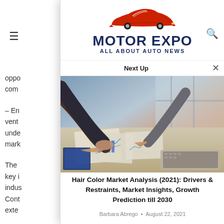[Figure (logo): Motor Expo - All About Auto News logo with red car silhouette on top and dark blue bold text]
Next Up
[Figure (photo): Business people reviewing charts and graphs on a desk with a laptop, market analysis meeting]
Hair Color Market Analysis (2021): Drivers & Restraints, Market Insights, Growth Prediction till 2030
Barbara Abrego · August 22, 2021
oppo
com
– En
vent
unde
mark
The 
key i
indus
Cont
exte